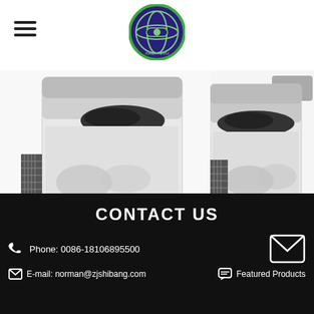Always Faithful - Company Logo
[Figure (photo): Product photo of Long Produce Line Copper Bonded Ground Rod on white background]
Long Produce Line Copper Bonded Groun...
[Figure (photo): Product photo of High definition Clamp on white background with gray badge]
High definition Clamp...
CONTACT US
Phone: 0086-18106895500
E-mail: norman@zjshibang.com
Featured Products